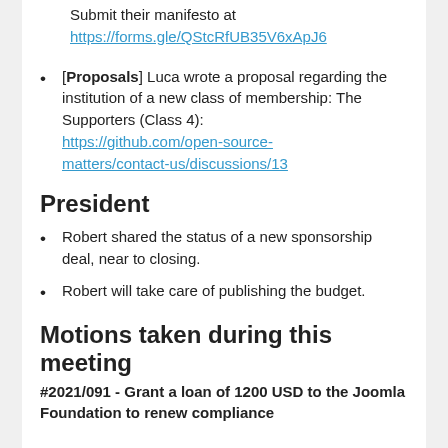Submit their manifesto at https://forms.gle/QStcRfUB35V6xApJ6
[Proposals] Luca wrote a proposal regarding the institution of a new class of membership: The Supporters (Class 4): https://github.com/open-source-matters/contact-us/discussions/13
President
Robert shared the status of a new sponsorship deal, near to closing.
Robert will take care of publishing the budget.
Motions taken during this meeting
#2021/091 - Grant a loan of 1200 USD to the Joomla Foundation to renew compliance